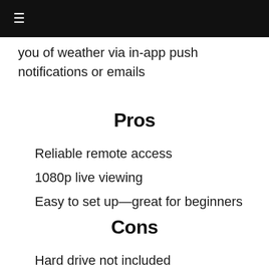≡
you of weather via in-app push notifications or emails
Pros
Reliable remote access
1080p live viewing
Easy to set up—great for beginners
Cons
Hard drive not included